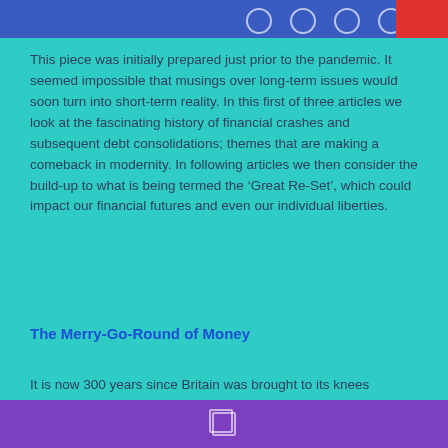This piece was initially prepared just prior to the pandemic. It seemed impossible that musings over long-term issues would soon turn into short-term reality. In this first of three articles we look at the fascinating history of financial crashes and subsequent debt consolidations; themes that are making a comeback in modernity. In following articles we then consider the build-up to what is being termed the ‘Great Re-Set’, which could impact our financial futures and even our individual liberties.
The Merry-Go-Round of Money
It is now 300 years since Britain was brought to its knees by the bursting of the South Sea Bubble in 1720. It was a